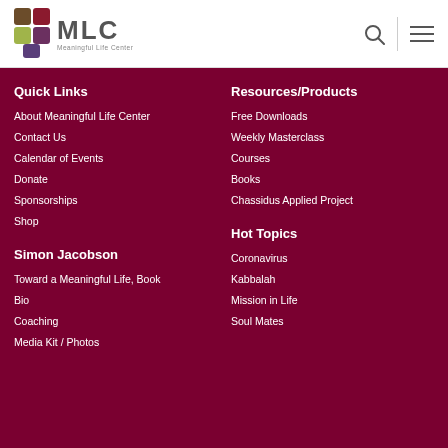MLC Meaningful Life Center
Quick Links
About Meaningful Life Center
Contact Us
Calendar of Events
Donate
Sponsorships
Shop
Resources/Products
Free Downloads
Weekly Masterclass
Courses
Books
Chassidus Applied Project
Simon Jacobson
Toward a Meaningful Life, Book
Bio
Coaching
Media Kit / Photos
Hot Topics
Coronavirus
Kabbalah
Mission in Life
Soul Mates